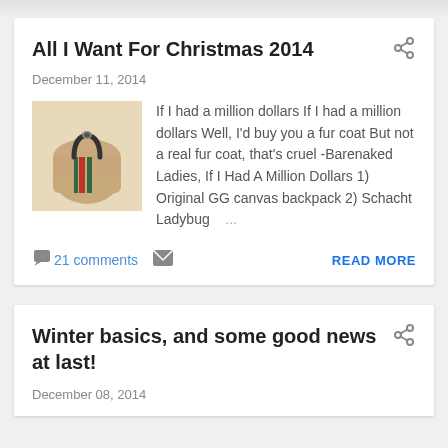All I Want For Christmas 2014
December 11, 2014
[Figure (photo): Gucci GG canvas backpack illustration on beige background]
If I had a million dollars If I had a million dollars Well, I'd buy you a fur coat But not a real fur coat, that's cruel -Barenaked Ladies, If I Had A Million Dollars 1) Original GG canvas backpack 2) Schacht Ladybug ...
21 comments
READ MORE
Winter basics, and some good news at last!
December 08, 2014